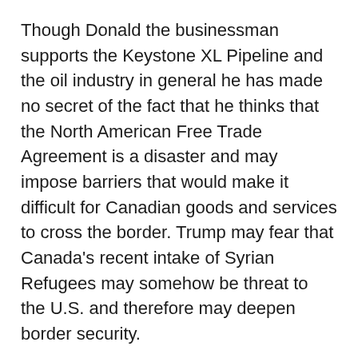Though Donald the businessman supports the Keystone XL Pipeline and the oil industry in general he has made no secret of the fact that he thinks that the North American Free Trade Agreement is a disaster and may impose barriers that would make it difficult for Canadian goods and services to cross the border. Trump may fear that Canada's recent intake of Syrian Refugees may somehow be threat to the U.S. and therefore may deepen border security.
I am sad for all of the politicians that spent their lives hoping for a run at the presidency and it turns out that a man with the deepest pockets and no solid political background could take up residency at 1600 Pennsylvania Avenue. It makes a mockery of then entire system.
Further information about...